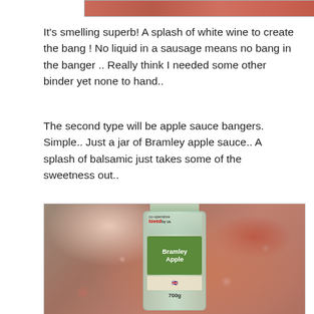[Figure (photo): Partial photo of raw meat visible at top of page]
It's smelling superb! A splash of white wine to create the bang ! No liquid in a sausage means no bang in the banger .. Really think I needed some other binder yet none to hand..
The second type will be apple sauce bangers. Simple.. Just a jar of Bramley apple sauce.. A splash of balsamic just takes some of the sweetness out..
[Figure (photo): Photo of a Co-operative Bramley Apple sauce jar (700g) lying on raw minced meat]